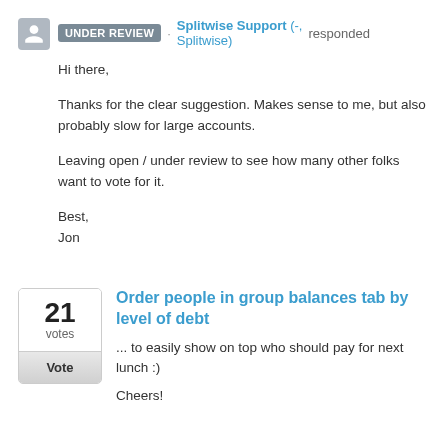UNDER REVIEW · Splitwise Support (-, Splitwise) responded
Hi there,

Thanks for the clear suggestion. Makes sense to me, but also probably slow for large accounts.

Leaving open / under review to see how many other folks want to vote for it.

Best,
Jon
Order people in group balances tab by level of debt
... to easily show on top who should pay for next lunch :)

Cheers!